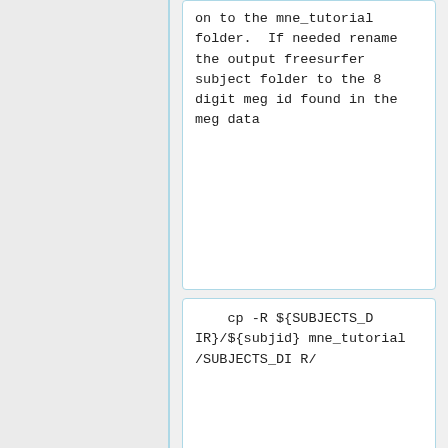on to the mne_tutorial folder.  If needed rename the output freesurfer subject folder to the 8 digit meg id found in the meg data
cp -R ${SUBJECTS_DIR}/${subjid} mne_tutorial/SUBJECTS_DIR/